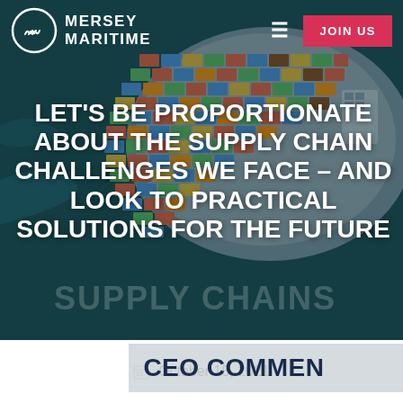MERSEY MARITIME — JOIN US
[Figure (photo): Aerial view of a container ship loaded with colorful shipping containers on dark teal ocean water, viewed from above. The ship occupies the right portion of the image.]
LET'S BE PROPORTIONATE ABOUT THE SUPPLY CHAIN CHALLENGES WE FACE – AND LOOK TO PRACTICAL SOLUTIONS FOR THE FUTURE
CEO COMMENT
October 15, 2021